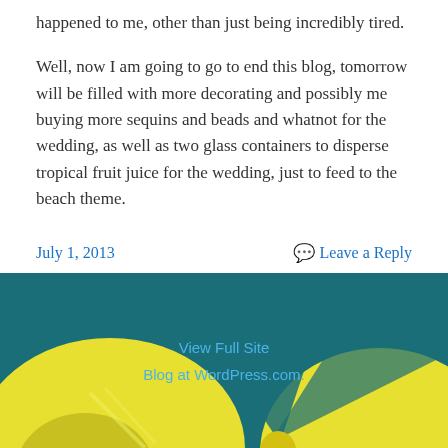happened to me, other than just being incredibly tired.
Well, now I am going to go to end this blog, tomorrow will be filled with more decorating and possibly me buying more sequins and beads and whatnot for the wedding, as well as two glass containers to disperse tropical fruit juice for the wedding, just to feed to the beach theme.
July 1, 2013
Leave a Reply
[Figure (illustration): Footer with teal/dark cyan background showing yellow flip-flop sandals partially visible, with links 'View Full Site' and 'Blog at WordPress.com.']